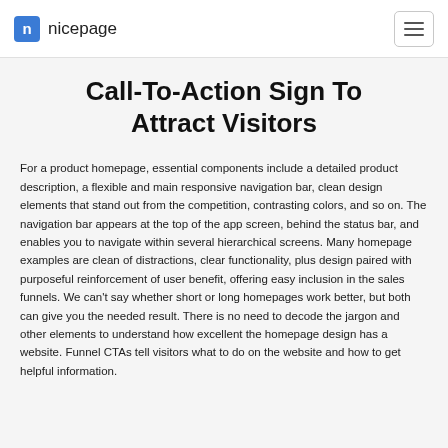nicepage
Call-To-Action Sign To Attract Visitors
For a product homepage, essential components include a detailed product description, a flexible and main responsive navigation bar, clean design elements that stand out from the competition, contrasting colors, and so on. The navigation bar appears at the top of the app screen, behind the status bar, and enables you to navigate within several hierarchical screens. Many homepage examples are clean of distractions, clear functionality, plus design paired with purposeful reinforcement of user benefit, offering easy inclusion in the sales funnels. We can't say whether short or long homepages work better, but both can give you the needed result. There is no need to decode the jargon and other elements to understand how excellent the homepage design has a website. Funnel CTAs tell visitors what to do on the website and how to get helpful information.